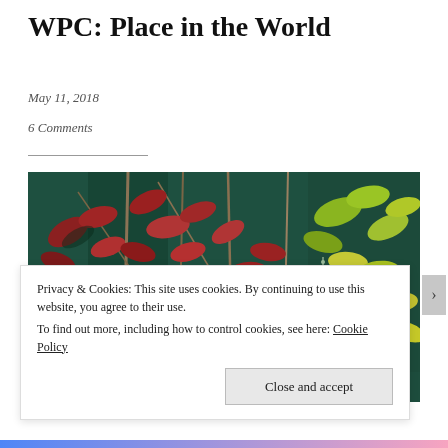WPC: Place in the World
May 11, 2018
6 Comments
[Figure (photo): Photograph of red and green autumn leaves with vines against a dark green background, with a decorative jeweled pendant visible on the right side.]
Privacy & Cookies: This site uses cookies. By continuing to use this website, you agree to their use.
To find out more, including how to control cookies, see here: Cookie Policy
Close and accept